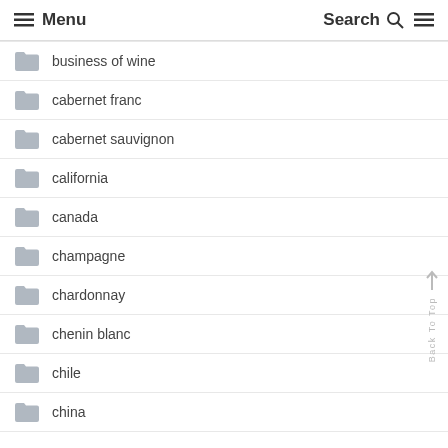Menu   Search
business of wine
cabernet franc
cabernet sauvignon
california
canada
champagne
chardonnay
chenin blanc
chile
china